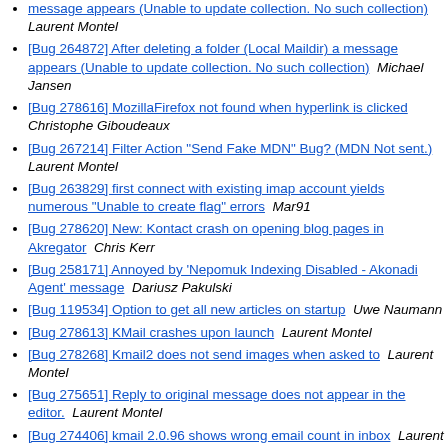[Bug 264872] After deleting a folder (Local Maildir) a message appears (Unable to update collection. No such collection)  Laurent Montel
[Bug 278616] MozillaFirefox not found when hyperlink is clicked  Christophe Giboudeaux
[Bug 267214] Filter Action "Send Fake MDN" Bug? (MDN Not sent.)  Laurent Montel
[Bug 263829] first connect with existing imap account yields numerous "Unable to create flag" errors  Mar91
[Bug 278620] New: Kontact crash on opening blog pages in Akregator  Chris Kerr
[Bug 258171] Annoyed by 'Nepomuk Indexing Disabled - Akonadi Agent' message  Dariusz Pakulski
[Bug 119534] Option to get all new articles on startup  Uwe Naumann
[Bug 278613] KMail crashes upon launch  Laurent Montel
[Bug 278268] Kmail2 does not send images when asked to  Laurent Montel
[Bug 275651] Reply to original message does not appear in the editor.  Laurent Montel
[Bug 274406] kmail 2.0.96 shows wrong email count in inbox  Laurent Montel
[Bug 277713] Kontact/KMail2 crashed when opening